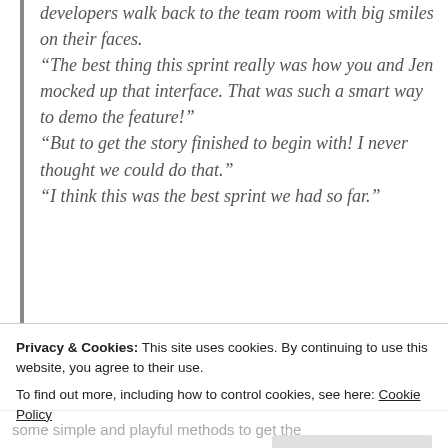developers walk back to the team room with big smiles on their faces. “The best thing this sprint really was how you and Jen mocked up that interface. That was such a smart way to demo the feature!” “But to get the story finished to begin with! I never thought we could do that.” “I think this was the best sprint we had so far.”
Privacy & Cookies: This site uses cookies. By continuing to use this website, you agree to their use. To find out more, including how to control cookies, see here: Cookie Policy
some simple and playful methods to get the